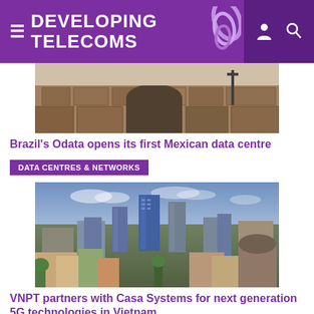DEVELOPING TELECOMS
[Figure (photo): Partial photo of a historic stone arch/wall structure in Mexico, presumably near Odata's data centre location]
Brazil's Odata opens its first Mexican data centre
DATA CENTRES & NETWORKS
[Figure (photo): City skyline photo showing dense urban high-rise buildings at dusk, representing Vietnam (Hanoi or Ho Chi Minh City)]
VNPT partners with Casa Systems for next generation 5G technologies in Vietnam